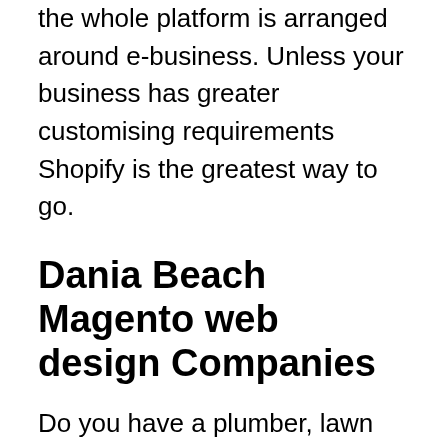the whole platform is arranged around e-business. Unless your business has greater customising requirements Shopify is the greatest way to go.
Dania Beach Magento web design Companies
Do you have a plumber, lawn service, pressure cleaning, or A/C repair company Looking to create a webpage so that you may retain new purchasers. Geografixx builds SEO primed sites that are available to be streamlined into Google so that they may grade high. When it gets to help companies, the main spot business go to pick out a corporation is Google. Even if anybody gives a prospective user a consultation, more than